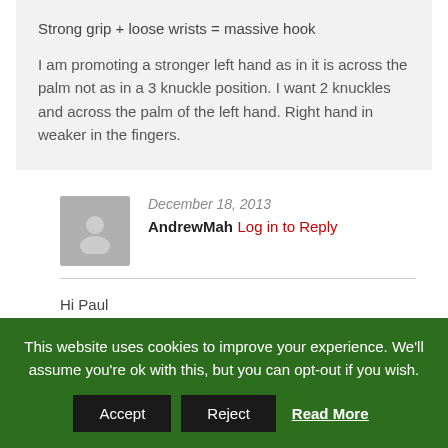Strong grip + loose wrists = massive hook
I am promoting a stronger left hand as in it is across the palm not as in a 3 knuckle position. I want 2 knuckles and across the palm of the left hand. Right hand in weaker in the fingers.
December 18, 2013
AndrewMah Log in to Reply
Hi Paul
This website uses cookies to improve your experience. We'll assume you're ok with this, but you can opt-out if you wish.